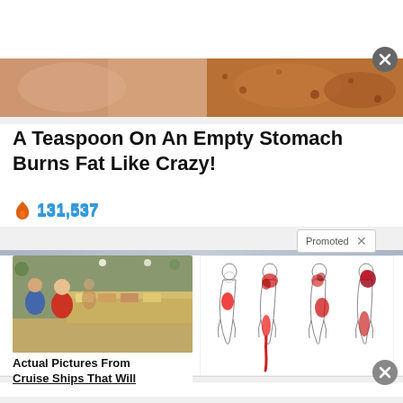[Figure (screenshot): Top white banner area of a webpage with a close (X) button]
[Figure (photo): Header image strip showing a person's torso/skin on the left and spices/food texture on the right]
A Teaspoon On An Empty Stomach Burns Fat Like Crazy!
🔥 131,537
[Figure (screenshot): Promoted content overlay badge with X close button and horizontal separator bar]
[Figure (photo): Thumbnail image of people at a buffet/cafeteria restaurant]
Actual Pictures From Cruise Ships That Will
[Figure (illustration): Medical illustration showing body silhouettes with red highlighted areas indicating fat/pain zones]
[Figure (screenshot): Bottom close button (X) and grey footer bar]